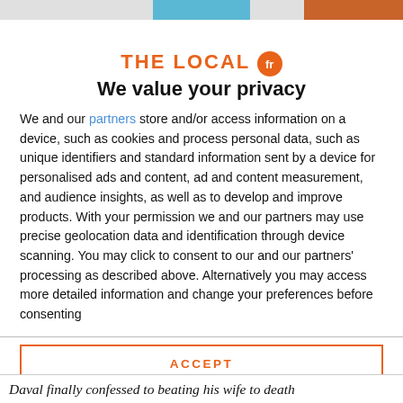[Figure (logo): The Local fr logo — orange text 'THE LOCAL' with orange circle containing 'fr']
We value your privacy
We and our partners store and/or access information on a device, such as cookies and process personal data, such as unique identifiers and standard information sent by a device for personalised ads and content, ad and content measurement, and audience insights, as well as to develop and improve products. With your permission we and our partners may use precise geolocation data and identification through device scanning. You may click to consent to our and our partners' processing as described above. Alternatively you may access more detailed information and change your preferences before consenting
ACCEPT
MORE OPTIONS
Daval finally confessed to beating his wife to death